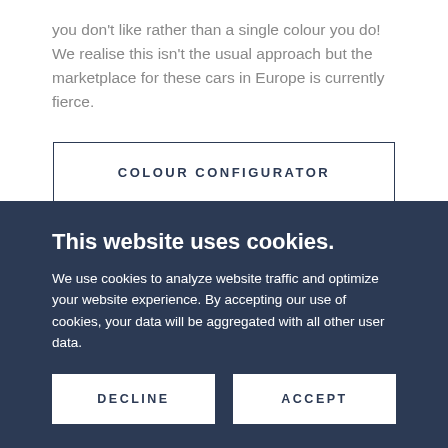you don't like rather than a single colour you do! We realise this isn't the usual approach but the marketplace for these cars in Europe is currently fierce.
COLOUR CONFIGURATOR
This website uses cookies.
We use cookies to analyze website traffic and optimize your website experience. By accepting our use of cookies, your data will be aggregated with all other user data.
DECLINE
ACCEPT